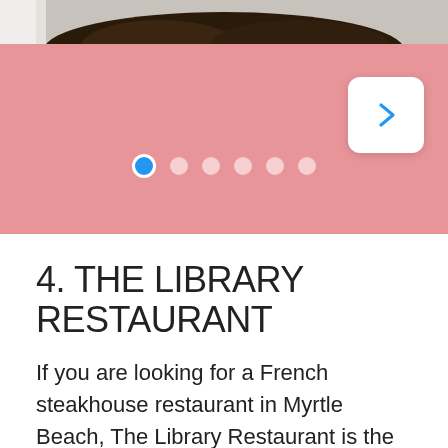[Figure (photo): Top portion of food photo, showing dark cooked meat/steak on a white plate, partially visible at top of page]
[Figure (screenshot): Pink carousel navigation bar with 6 navigation dots (first dot is blue/active) and a white right-arrow button on the right side]
4. THE LIBRARY RESTAURANT
If you are looking for a French steakhouse restaurant in Myrtle Beach, The Library Restaurant is the best answer and choice for you. Located in N Kings Hwy Unit D, The Library Restaurant starts open from 5.00 PM until 10.00 PM on Tuesday to Saturday and closed on Sunday and Monday.
You'll never let you down by the menu on The Library Restaurant ...